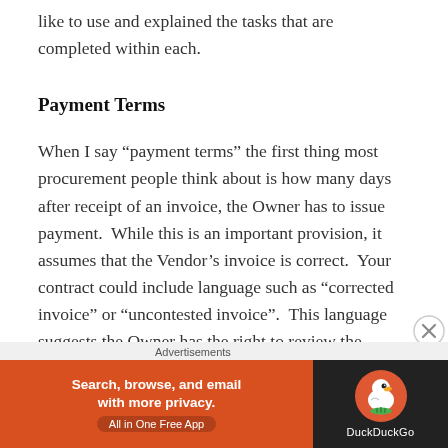like to use and explained the tasks that are completed within each.
Payment Terms
When I say “payment terms” the first thing most procurement people think about is how many days after receipt of an invoice, the Owner has to issue payment.  While this is an important provision, it assumes that the Vendor’s invoice is correct.  Your contract could include language such as “corrected invoice” or “uncontested invoice”.  This language suggests the Owner has the right to review the invoice, but most
Advertisements
[Figure (other): DuckDuckGo advertisement banner: orange left panel reading 'Search, browse, and email with more privacy. All in One Free App' and dark right panel with DuckDuckGo duck logo and brand name.]